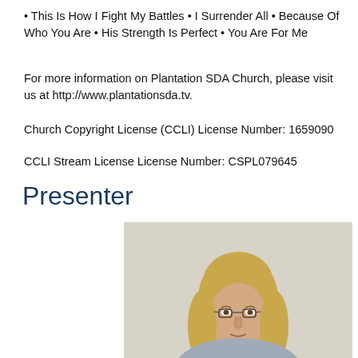• This Is How I Fight My Battles • I Surrender All • Because Of Who You Are • His Strength Is Perfect • You Are For Me
For more information on Plantation SDA Church, please visit us at http://www.plantationsda.tv.
Church Copyright License (CCLI) License Number: 1659090
CCLI Stream License License Number: CSPL079645
Presenter
[Figure (photo): A blonde woman with glasses, photographed from the shoulders up against a light background.]